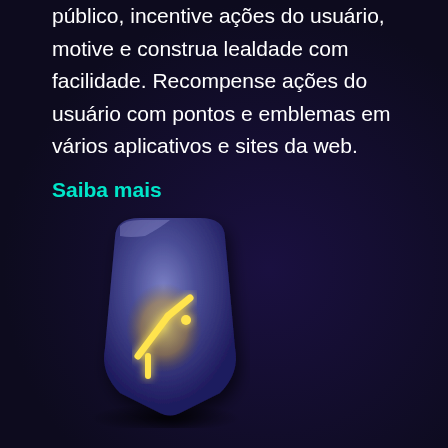público, incentive ações do usuário, motive e construa lealdade com facilidade. Recompense ações do usuário com pontos e emblemas em vários aplicativos e sites da web.
Saiba mais
[Figure (illustration): A 3D rendered blue-purple rounded badge/emblem with a glowing yellow rune or symbol on it, set against a dark background with a radial shadow beneath it.]